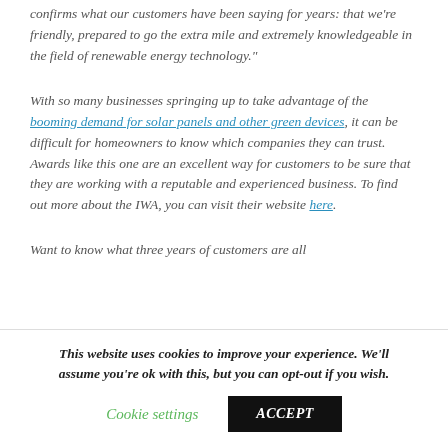confirms what our customers have been saying for years: that we're friendly, prepared to go the extra mile and extremely knowledgeable in the field of renewable energy technology."
With so many businesses springing up to take advantage of the booming demand for solar panels and other green devices, it can be difficult for homeowners to know which companies they can trust. Awards like this one are an excellent way for customers to be sure that they are working with a reputable and experienced business. To find out more about the IWA, you can visit their website here.
Want to know what three years of customers are all
This website uses cookies to improve your experience. We'll assume you're ok with this, but you can opt-out if you wish.